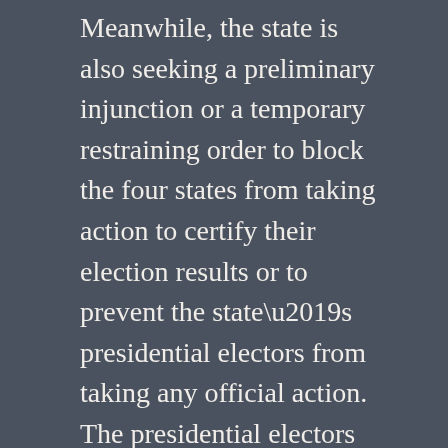Meanwhile, the state is also seeking a preliminary injunction or a temporary restraining order to block the four states from taking action to certify their election results or to prevent the state’s presidential electors from taking any official action. The presidential electors are scheduled to meet on Dec. 14.
The court has ordered the defendant states to respond to Texas’s motions by 3 p.m. on Dec. 10.